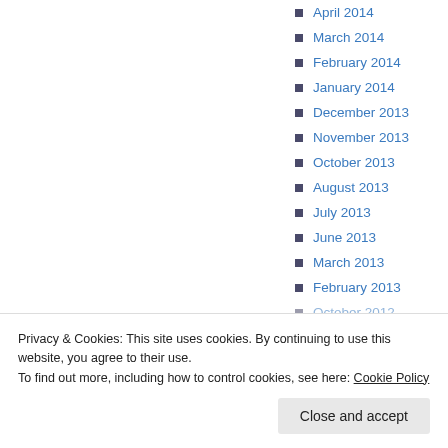April 2014
March 2014
February 2014
January 2014
December 2013
November 2013
October 2013
August 2013
July 2013
June 2013
March 2013
February 2013
October 2012
Privacy & Cookies: This site uses cookies. By continuing to use this website, you agree to their use.
To find out more, including how to control cookies, see here: Cookie Policy
Close and accept